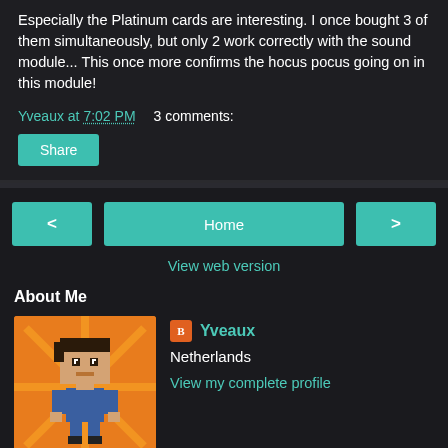Especially the Platinum cards are interesting. I once bought 3 of them simultaneously, but only 2 work correctly with the sound module... This once more confirms the hocus pocus going on in this module!
Yveaux at 7:02 PM    3 comments:
Share
< Home >
View web version
About Me
[Figure (illustration): Pixel art avatar of a person with dark hair, wearing a blue outfit, on an orange sunburst background]
Yveaux
Netherlands
View my complete profile
Powered by Blogger.